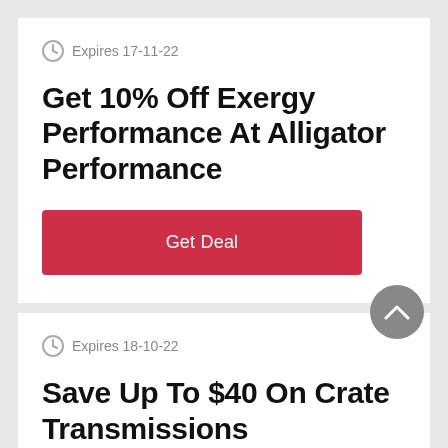Expires 17-11-22
Get 10% Off Exergy Performance At Alligator Performance
Get Deal
Expires 18-10-22
Save Up To $40 On Crate Transmissions
Get Deal